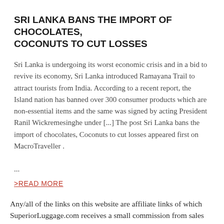SRI LANKA BANS THE IMPORT OF CHOCOLATES, COCONUTS TO CUT LOSSES
Sri Lanka is undergoing its worst economic crisis and in a bid to revive its economy, Sri Lanka introduced Ramayana Trail to attract tourists from India. According to a recent report, the Island nation has banned over 300 consumer products which are non-essential items and the same was signed by acting President Ranil Wickremesinghe under [...] The post Sri Lanka bans the import of chocolates, Coconuts to cut losses appeared first on MacroTraveller . ...
>READ MORE
Any/all of the links on this website are affiliate links of which SuperiorLuggage.com receives a small commission from sales